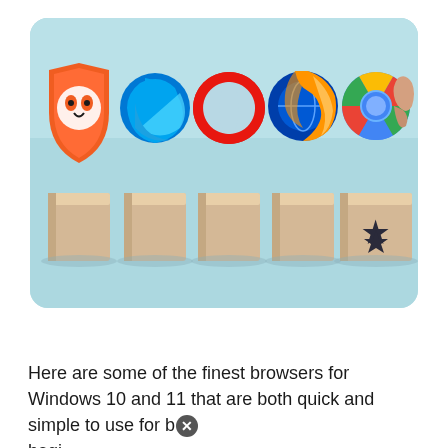[Figure (photo): Five web browser logos (Brave, Microsoft Edge, Opera, Firefox, Chrome) placed on top of wooden blocks arranged in a row against a light blue background. A hand is placing the Chrome logo on the last block, which also has a star symbol on its face.]
Here are some of the finest browsers for Windows 10 and 11 that are both quick and simple to use for both beginners and experts. begi